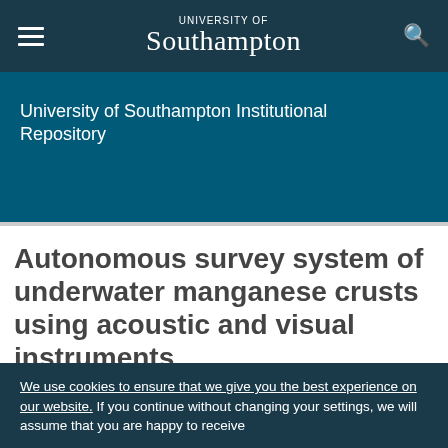UNIVERSITY OF Southampton
University of Southampton Institutional Repository
Autonomous survey system of underwater manganese crusts using acoustic and visual instruments
We use cookies to ensure that we give you the best experience on our website. If you continue without changing your settings, we will assume that you are happy to receive